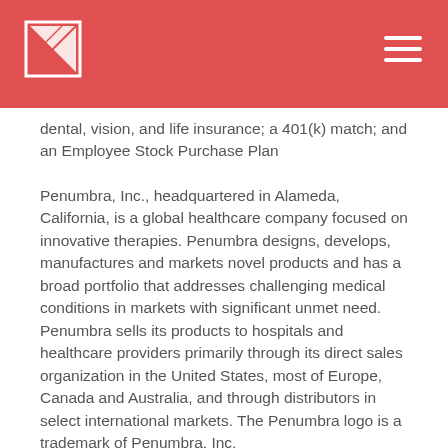Penumbra, Inc. header with logo and navigation
dental, vision, and life insurance; a 401(k) match; and an Employee Stock Purchase Plan
Penumbra, Inc., headquartered in Alameda, California, is a global healthcare company focused on innovative therapies. Penumbra designs, develops, manufactures and markets novel products and has a broad portfolio that addresses challenging medical conditions in markets with significant unmet need. Penumbra sells its products to hospitals and healthcare providers primarily through its direct sales organization in the United States, most of Europe, Canada and Australia, and through distributors in select international markets. The Penumbra logo is a trademark of Penumbra, Inc.
Qualified applicants will receive consideration for employment without regard to race, color, religion, sex,